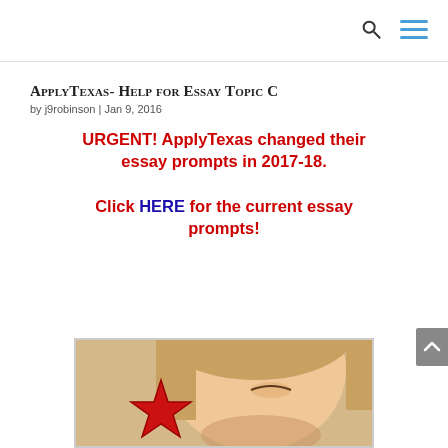ApplyTexas- Help for Essay Topic C
by j9robinson | Jan 9, 2016
URGENT! ApplyTexas changed their essay prompts in 2017-18. Click HERE for the current essay prompts!
[Figure (photo): Photo of a child smiling, holding a red star-shaped cookie cutter near their eye]